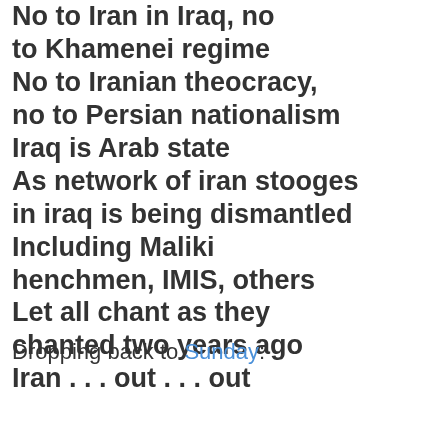No to Iran in Iraq, no to Khamenei regime
No to Iranian theocracy, no to Persian nationalism
Iraq is Arab state
As network of iran stooges in iraq is being dismantled
Including Maliki henchmen, IMIS, others
Let all chant as they chanted two years ago
Iran . . . out . . . out
Dropping back to Sunday: